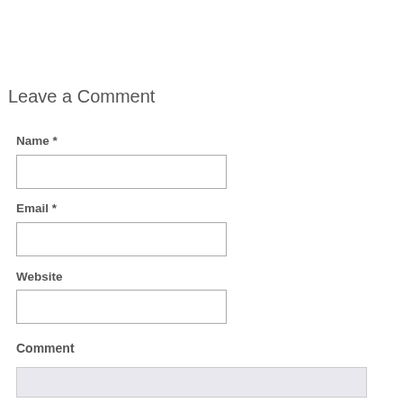Leave a Comment
Name *
Email *
Website
Comment